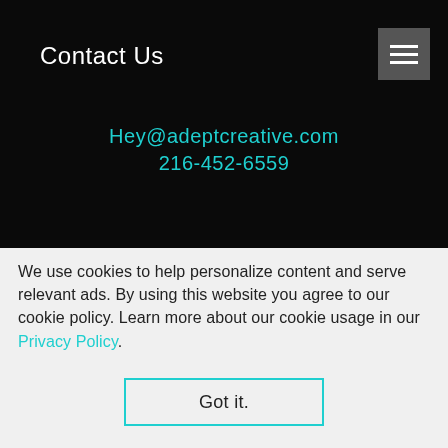Contact Us
Hey@adeptcreative.com
216-452-6559
Adept Creative HQ
Western Reserve Building
1468 West 9th Street
Suite #100
Cleveland, Ohio 44113
Adept Creative Satellite
One Oxford Center
301 Grant Street
We use cookies to help personalize content and serve relevant ads. By using this website you agree to our cookie policy. Learn more about our cookie usage in our Privacy Policy.
Got it.